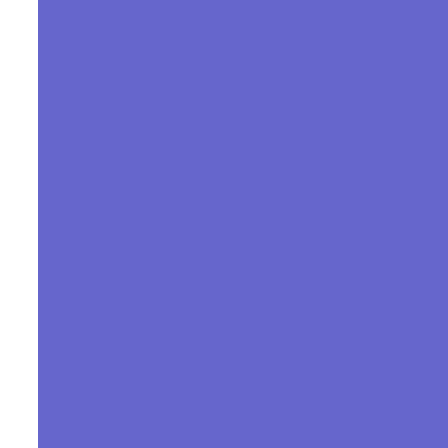Set 2
Set 3
Comments
Venue:
City:
State or Country:
List By: Date
Order: Ascending
Start Search
Search Tips
Each entry narrows your search results.
Guru Guru 11/19/2
Guru Guru 01/11/2
Guru Guru 01/12/2
Guru Guru 12/10/2
Guru Guru 12/02/2
Guru Guru 11/12/2
Guru Guru 10/08/2
Guru Guru 11/20/2
Guru Guru 09/23/2
Guru Guru 10/01/2
Guru Guru 11/11/2
Guru Guru 10/07/2
Guru Guru 09/30/2